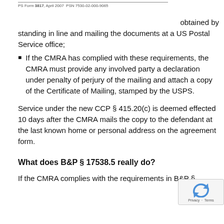PS Form 3817, April 2007  PSN 7530-02-000-9065
obtained by standing in line and mailing the documents at a US Postal Service office;
If the CMRA has complied with these requirements, the CMRA must provide any involved party a declaration under penalty of perjury of the mailing and attach a copy of the Certificate of Mailing, stamped by the USPS.
Service under the new CCP § 415.20(c) is deemed effected 10 days after the CMRA mails the copy to the defendant at the last known home or personal address on the agreement form.
What does B&P § 17538.5 really do?
If the CMRA complies with the requirements in B&P §